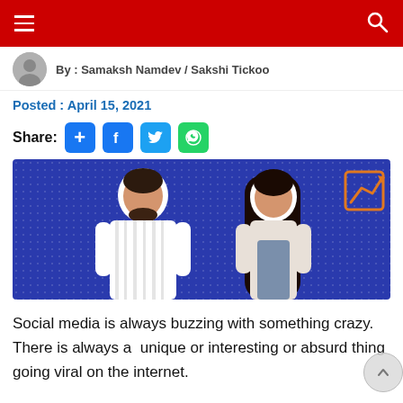Navigation header bar with hamburger menu and search icon
By : Samaksh Namdev / Sakshi Tickoo
Posted : April 15, 2021
Share:
[Figure (illustration): Two illustrated/cartoon-style figures on a blue background — a young man with a beard on the left and a young woman with long dark hair on the right. An orange chart logo with an upward arrow is visible in the top-right corner.]
Social media is always buzzing with something crazy. There is always a  unique or interesting or absurd thing going viral on the internet.